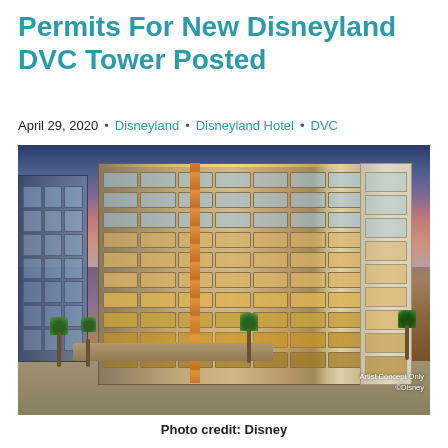Permits For New Disneyland DVC Tower Posted
April 29, 2020 • Disneyland • Disneyland Hotel • DVC
[Figure (photo): Artist concept rendering of the new Disneyland Hotel DVC Tower, a modern multi-story building with warm-lit windows, orange accent strips, palm trees, and a canopy entrance, set against a twilight sky. Lower right corner reads 'Artist Concept Only ©Disney'.]
Photo credit: Disney